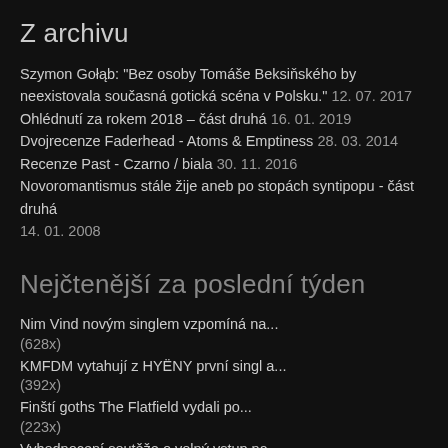Z archivu
Szymon Gołąb: "Bez osoby Tomáše Beksiňského by neexistovala současná gotická scéna v Polsku." 12. 07. 2017
Ohlédnutí za rokem 2018 – část druhá 16. 01. 2019
Dvojrecenze Faderhead - Atoms & Emptiness 28. 03. 2014
Recenze Past - Czarno / biala 30. 11. 2016
Novoromantismus stále žije aneb po stopách syntipopu - část druhá 14. 01. 2008
Nejčtenější za poslední týden
Nim Vind novým singlem vzpomíná na... (628x)
KMFDM vytahují z HYËNY první singl a... (392x)
Finští goths The Flatfield vydali po... (223x)
Vyhodnocení soutěže o volný vstup na... (222x)
Minuit Machine před vydáním nové desky... (208x)